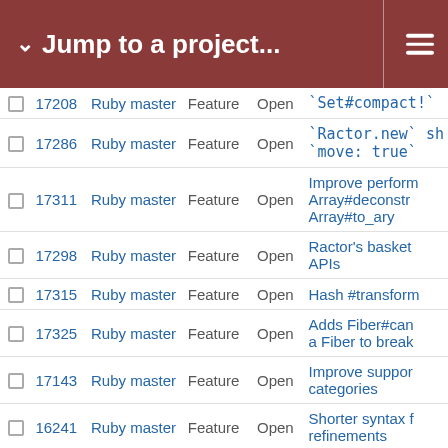Jump to a project...
|  | # | Project | Type | Status | Subject |
| --- | --- | --- | --- | --- | --- |
|  | 17208 | Ruby master | Feature | Open | `Set#compact!` |
|  | 17286 | Ruby master | Feature | Open | `Ractor.new` sh `move: true` |
|  | 17311 | Ruby master | Feature | Open | Improve perform Array#deconstr Array#to_ary |
|  | 17298 | Ruby master | Feature | Open | Ractor's basket APIs |
|  | 17315 | Ruby master | Feature | Open | Hash #transform |
|  | 17325 | Ruby master | Feature | Open | Adds Fiber#can a Fiber to break |
|  | 17143 | Ruby master | Feature | Open | Improve suppor categories |
|  | 16241 | Ruby master | Feature | Open | Shorter syntax f refinements |
|  | 17353 | Ruby master | Feature | Open | Functional chain |
|  | 17356 | Ruby master | Feature | Open | Alignment of me through Fiddle s |
|  | 17156 | Ruby master | Feature | Open | Refinements pe |
|  | 17375 | Ruby master | Feature | Open | Add scheduler o transferring fibe |